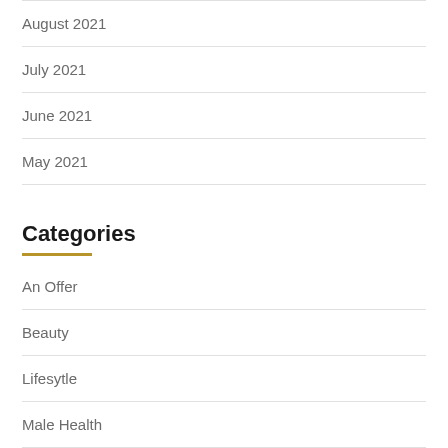August 2021
July 2021
June 2021
May 2021
Categories
An Offer
Beauty
Lifesytle
Male Health
My Commerce Softwares
Regnow Softwares